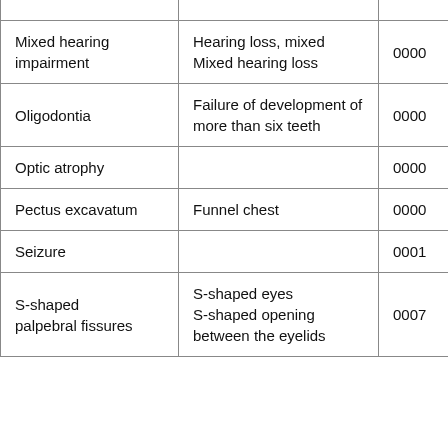| Condition | Synonyms | Code |
| --- | --- | --- |
| Mixed hearing impairment | Hearing loss, mixed
Mixed hearing loss | 0000 |
| Oligodontia | Failure of development of more than six teeth | 0000 |
| Optic atrophy |  | 0000 |
| Pectus excavatum | Funnel chest | 0000 |
| Seizure |  | 0001 |
| S-shaped palpebral fissures | S-shaped eyes
S-shaped opening between the eyelids | 0007 |